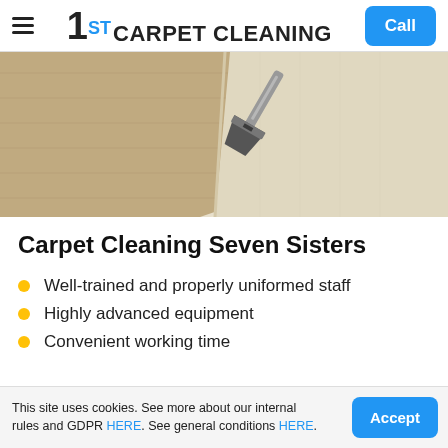1ST CARPET CLEANING | Call
[Figure (photo): Close-up photo of a beige/cream carpet being cleaned by a professional cleaning nozzle/wand, showing a clean strip on the right and dirty area on the left.]
Carpet Cleaning Seven Sisters
Well-trained and properly uniformed staff
Highly advanced equipment
Convenient working time
This site uses cookies. See more about our internal rules and GDPR HERE. See general conditions HERE. | Accept